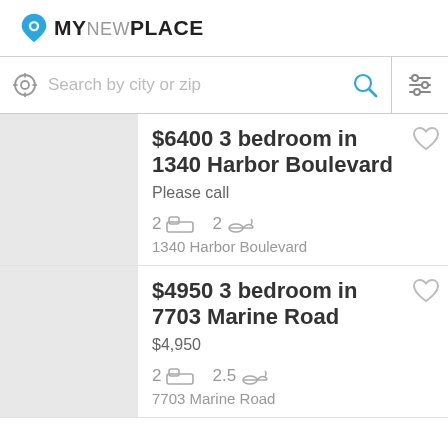[Figure (logo): MyNewPlace logo with pin icon]
Search by city or zip
$6400 3 bedroom in 1340 Harbor Boulevard
Please call
2 bed  2 bath
1340 Harbor Boulevard
$4950 3 bedroom in 7703 Marine Road
$4,950
2 bed  2.5 bath
7703 Marine Road